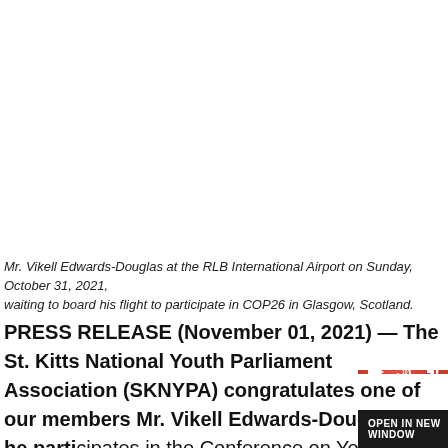[Figure (photo): Photo of Mr. Vikell Edwards-Douglas at the RLB International Airport (image area, appears white/blank in this view)]
Mr. Vikell Edwards-Douglas at the RLB International Airport on Sunday, October 31, 2021, waiting to board his flight to participate in COP26 in Glasgow, Scotland.
PRESS RELEASE (November 01, 2021) — The St. Kitts National Youth Parliament Association (SKNYPA) congratulates one of our members Mr. Vikell Edwards-Douglas as he parti[cipates in the Conference on] Youth (COY16) whi[ch precedes the UN] Climate Change Conference also known as Conference of the